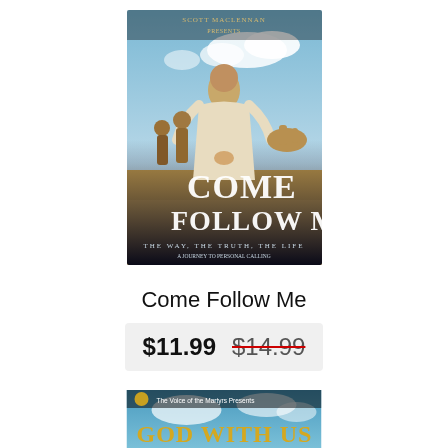[Figure (photo): Book cover for 'Come Follow Me' showing a man in biblical robes walking in a desert landscape with followers behind him. Text on cover reads 'COME FOLLOW ME' and subtitle 'The Way, The Truth, The Life'.]
Come Follow Me
$11.99  $14.99
[Figure (photo): Partially visible book cover for 'God With Us' showing blue sky background with golden text.]